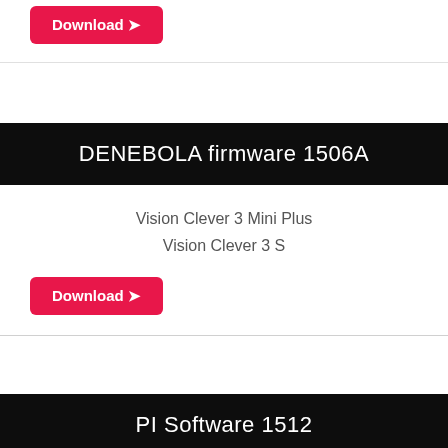Download
DENEBOLA firmware 1506A
Vision Clever 3 Mini Plus
Vision Clever 3 S
Download
PI Software 1512
vision clever 3